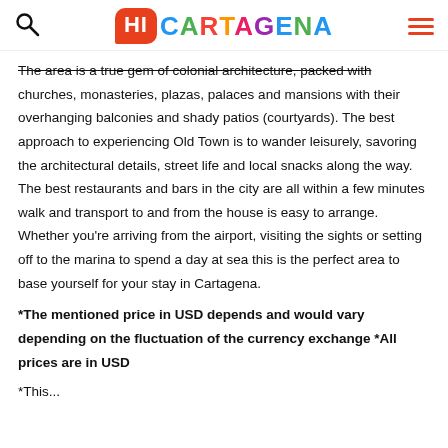Hi Cartagena
The area is a true gem of colonial architecture, packed with churches, monasteries, plazas, palaces and mansions with their overhanging balconies and shady patios (courtyards). The best approach to experiencing Old Town is to wander leisurely, savoring the architectural details, street life and local snacks along the way. The best restaurants and bars in the city are all within a few minutes walk and transport to and from the house is easy to arrange. Whether you're arriving from the airport, visiting the sights or setting off to the marina to spend a day at sea this is the perfect area to base yourself for your stay in Cartagena.
*The mentioned price in USD depends and would vary depending on the fluctuation of the currency exchange *All prices are in USD
*This...